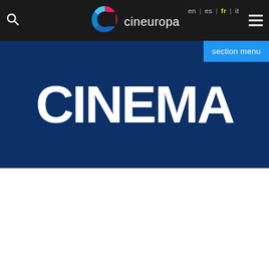Cineuropa navigation bar with search, logo, language links (en | es | fr | it), and hamburger menu
section menu
[Figure (screenshot): Cineuropa Cinema section banner — dark navy blue background with large white bold uppercase text 'CINEMA']